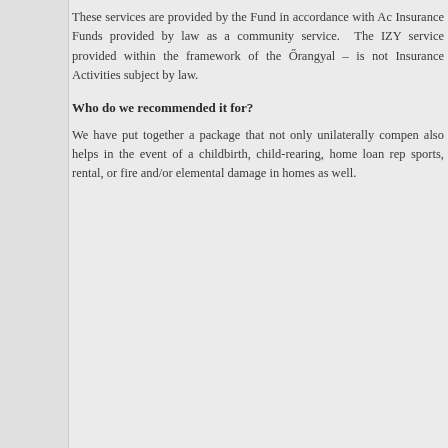These services are provided by the Fund in accordance with Ac Insurance Funds provided by law as a community service. The IZY service provided within the framework of the Őrangyal – is not Insurance Activities subject by law.
Who do we recommended it for?
We have put together a package that not only unilaterally compen also helps in the event of a childbirth, child-rearing, home loan rep sports, rental, or fire and/or elemental damage in homes as well.